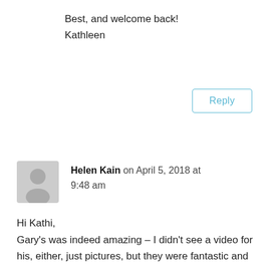Best, and welcome back!
Kathleen
Reply
Helen Kain on April 5, 2018 at 9:48 am
Hi Kathi,
Gary's was indeed amazing – I didn't see a video for his, either, just pictures, but they were fantastic and told a great story. And what a selection of potential dinner party themes, yes? We can have a blast.
Thanks again to you and Ron for